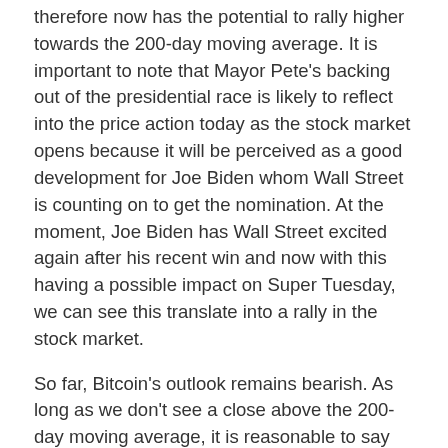therefore now has the potential to rally higher towards the 200-day moving average. It is important to note that Mayor Pete's backing out of the presidential race is likely to reflect into the price action today as the stock market opens because it will be perceived as a good development for Joe Biden whom Wall Street is counting on to get the nomination. At the moment, Joe Biden has Wall Street excited again after his recent win and now with this having a possible impact on Super Tuesday, we can see this translate into a rally in the stock market.
So far, Bitcoin's outlook remains bearish. As long as we don't see a close above the 200-day moving average, it is reasonable to say that the price could decline further. However, in case we get a close above the 200-day moving average, things might change short-term. The S&P 500 (SPX) would have a lot to do with something like that. The EUR/USD forex pair has also broken past the 200-day